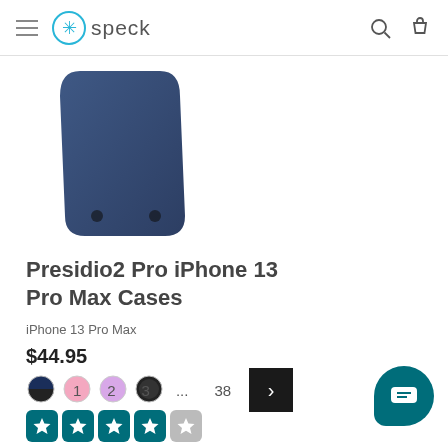Speck
[Figure (photo): Partial view of a navy blue Speck Presidio2 Pro iPhone 13 Pro Max case, tilted at an angle showing the back of the case]
Presidio2 Pro iPhone 13 Pro Max Cases
iPhone 13 Pro Max
$44.95
[Figure (other): Four color swatches: navy/black split, light pink, light purple, and black]
[Figure (other): Star rating: 4 out of 5 stars, shown as teal filled star icons in rounded square boxes]
1  2  3  ...  38  >
[Figure (other): Teal chat bubble button in bottom right corner]